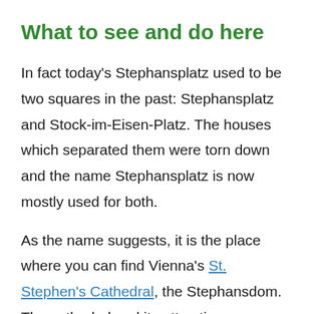What to see and do here
In fact today's Stephansplatz used to be two squares in the past: Stephansplatz and Stock-im-Eisen-Platz. The houses which separated them were torn down and the name Stephansplatz is now mostly used for both.
As the name suggests, it is the place where you can find Vienna's St. Stephen's Cathedral, the Stephansdom. The cathedral and its attractiveness as a tourist destination is most